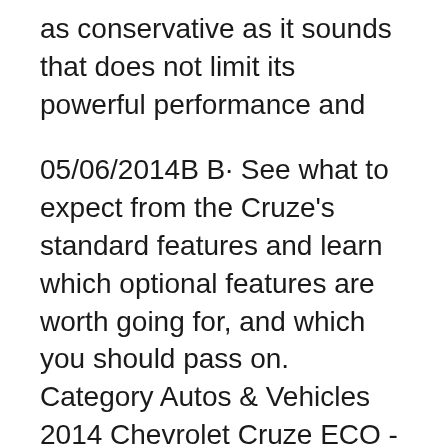as conservative as it sounds that does not limit its powerful performance and
05/06/2014В В· See what to expect from the Cruze's standard features and learn which optional features are worth going for, and which you should pass on. Category Autos & Vehicles 2014 Chevrolet Cruze ECO - Bluetooth - OnStar Low Mileage, Bluetooth, OnStar, SiriusXM! Compare at $14790 - is just $14500! Style, reliability, and value all come standard on the Chevy Cruze. This 2014 Chevrolet Cruze is for sale today in La Crete. The compact 2014 Chevrolet Cruze offers a вЂ¦
5 out of 5 stars. Every Chevy been the greatest. by SueBee from Hour west of Philadelphia on